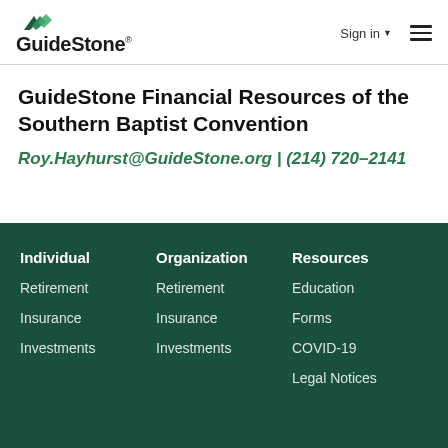GuideStone | Sign in ☰
GuideStone Financial Resources of the Southern Baptist Convention
Roy.Hayhurst@GuideStone.org | (214) 720-2141
Individual
Retirement
Insurance
Investments
Organization
Retirement
Insurance
Investments
Resources
Education
Forms
COVID-19
Legal Notices